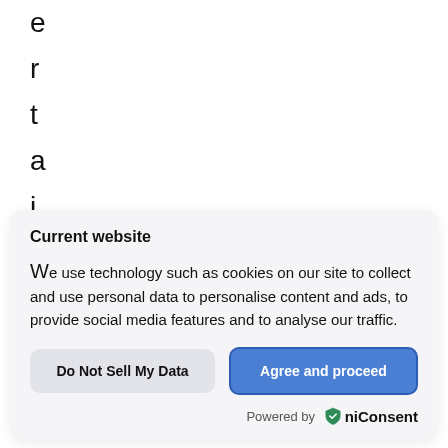e
r
t
a
i
n
m
e
Current website
We use technology such as cookies on our site to collect and use personal data to personalise content and ads, to provide social media features and to analyse our traffic.
Do Not Sell My Data
Agree and proceed
Powered by OniConsent